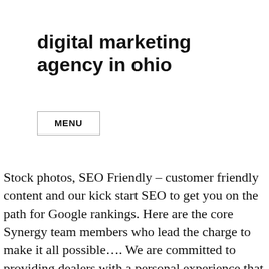digital marketing agency in ohio
MENU
Stock photos, SEO Friendly – customer friendly content and our kick start SEO to get you on the path for Google rankings. Here are the core Synergy team members who lead the charge to make it all possible…. We are committed to providing dealers with a personal experience that provides killer ROI! Caveni Digital Solutions was founded in 2016 to help small businesses achieve the same level of success online as enterprise